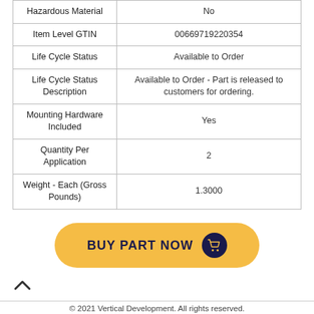| Attribute | Value |
| --- | --- |
| Hazardous Material | No |
| Item Level GTIN | 00669719220354 |
| Life Cycle Status | Available to Order |
| Life Cycle Status Description | Available to Order - Part is released to customers for ordering. |
| Mounting Hardware Included | Yes |
| Quantity Per Application | 2 |
| Weight - Each (Gross Pounds) | 1.3000 |
[Figure (other): Yellow rounded button with text BUY PART NOW and a shopping cart icon on dark navy background circle]
© 2021 Vertical Development. All rights reserved.